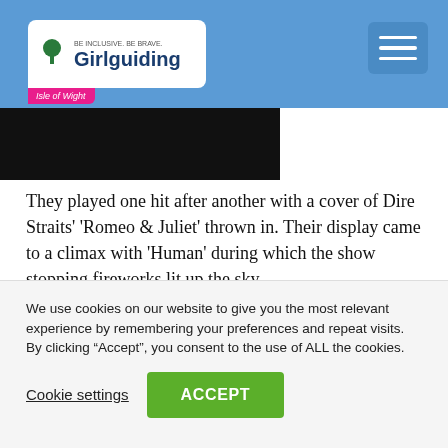Girlguiding Isle of Wight
[Figure (photo): Dark photograph partially visible in upper left area below header]
They played one hit after another with a cover of Dire Straits' 'Romeo & Juliet' thrown in. Their display came to a climax with 'Human' during which the show stopping fireworks lit up the sky.
With the pyrotechnics over they launched into their anthemic 'Mr. Brightside' as a finale. Technically they broke the 11pm curfew but no one was complaining!
We use cookies on our website to give you the most relevant experience by remembering your preferences and repeat visits. By clicking “Accept”, you consent to the use of ALL the cookies.
Cookie settings | ACCEPT